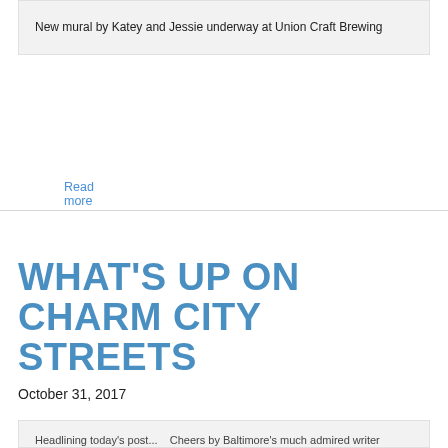New mural by Katey and Jessie underway at Union Craft Brewing
Read more
WHAT'S UP ON CHARM CITY STREETS
October 31, 2017
Headlining today's post... Cheers by Baltimore's much admired writer